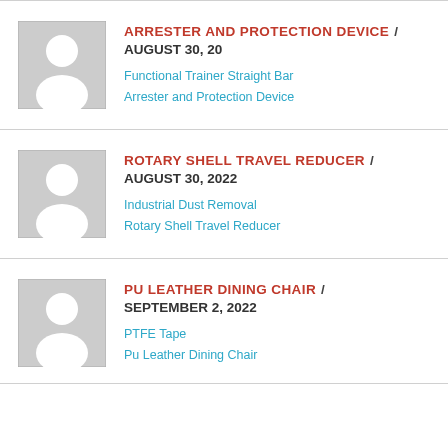ARRESTER AND PROTECTION DEVICE / AUGUST 30, 20
Functional Trainer Straight Bar
Arrester and Protection Device
ROTARY SHELL TRAVEL REDUCER / AUGUST 30, 2022
Industrial Dust Removal
Rotary Shell Travel Reducer
PU LEATHER DINING CHAIR / SEPTEMBER 2, 2022
PTFE Tape
Pu Leather Dining Chair